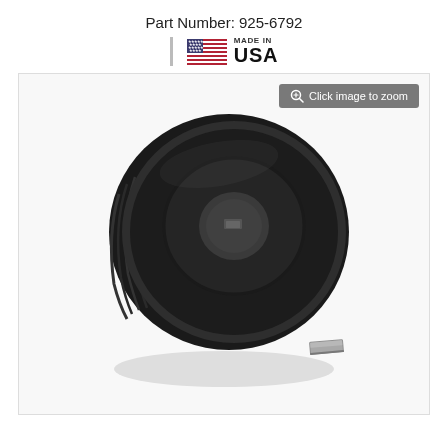Part Number: 925-6792
[Figure (logo): Made in USA badge with American flag icon]
[Figure (photo): Black serpentine belt pulley (crankshaft pulley) with ribbed grooves and center bore with keyway, shown with a small rectangular key beside it. Product part number 925-6792.]